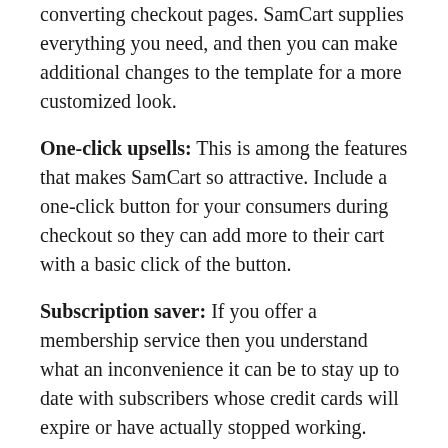converting checkout pages. SamCart supplies everything you need, and then you can make additional changes to the template for a more customized look.
One-click upsells: This is among the features that makes SamCart so attractive. Include a one-click button for your consumers during checkout so they can add more to their cart with a basic click of the button.
Subscription saver: If you offer a membership service then you understand what an inconvenience it can be to stay up to date with subscribers whose credit cards will expire or have actually stopped working. SamCart immediately monitors this for you and sends out